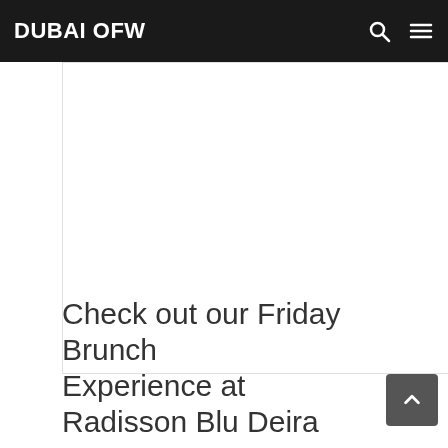DUBAI OFW
[Figure (other): Advertisement / blank white content area]
Check out our Friday Brunch Experience at Radisson Blu Deira